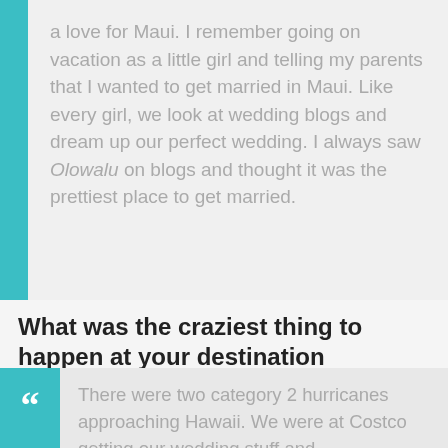a love for Maui. I remember going on vacation as a little girl and telling my parents that I wanted to get married in Maui. Like every girl, we look at wedding blogs and dream up our perfect wedding. I always saw Olowalu on blogs and thought it was the prettiest place to get married.
What was the craziest thing to happen at your destination wedding?
There were two category 2 hurricanes approaching Hawaii. We were at Costco getting our wedding stuff and